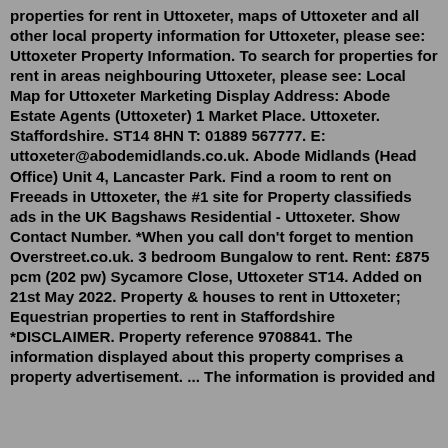properties for rent in Uttoxeter, maps of Uttoxeter and all other local property information for Uttoxeter, please see: Uttoxeter Property Information. To search for properties for rent in areas neighbouring Uttoxeter, please see: Local Map for Uttoxeter Marketing Display Address: Abode Estate Agents (Uttoxeter) 1 Market Place. Uttoxeter. Staffordshire. ST14 8HN T: 01889 567777. E: uttoxeter@abodemidlands.co.uk. Abode Midlands (Head Office) Unit 4, Lancaster Park. Find a room to rent on Freeads in Uttoxeter, the #1 site for Property classifieds ads in the UK Bagshaws Residential - Uttoxeter. Show Contact Number. *When you call don't forget to mention Overstreet.co.uk. 3 bedroom Bungalow to rent. Rent: £875 pcm (202 pw) Sycamore Close, Uttoxeter ST14. Added on 21st May 2022. Property & houses to rent in Uttoxeter; Equestrian properties to rent in Staffordshire *DISCLAIMER. Property reference 9708841. The information displayed about this property comprises a property advertisement. ... The information is provided and